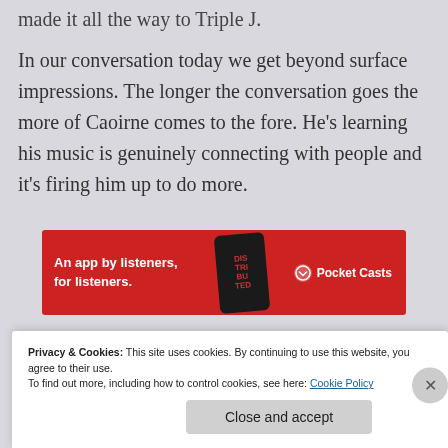made it all the way to Triple J.
In our conversation today we get beyond surface impressions. The longer the conversation goes the more of Caoirne comes to the fore. He's learning his music is genuinely connecting with people and it's firing him up to do more.
[Figure (other): Pocket Casts advertisement banner. Red background with text 'An app by listeners, for listeners.' and a phone showing the Distributed podcast app, with the Pocket Casts logo on the right.]
Privacy & Cookies: This site uses cookies. By continuing to use this website, you agree to their use.
To find out more, including how to control cookies, see here: Cookie Policy
Close and accept